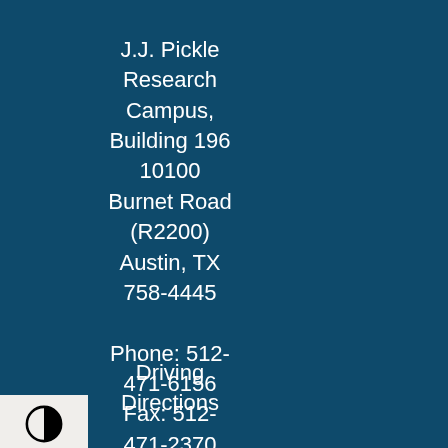J.J. Pickle Research Campus, Building 196 10100 Burnet Road (R2200) Austin, TX 758-4445

Phone: 512-471-6156 Fax: 512-471-2370
Driving Directions